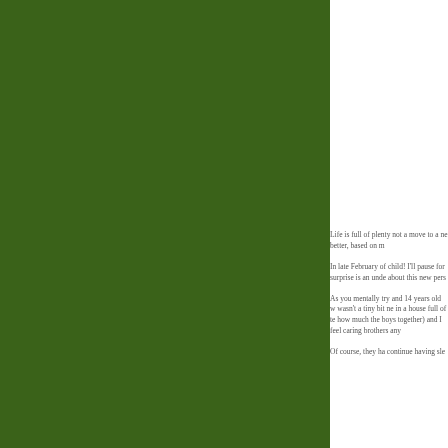[Figure (illustration): Large dark green rectangular panel covering the left portion of the page]
Life is full of plenty not a move to a ne better, based on m
In late February of child! I'll pause for surprise is an unde about this new pers
As you mentally try and 14 years old w wasn't a tiny bit ne in a house full of te how much the boys together) and I feel caring brothers any
Of course, they ha continue having sle